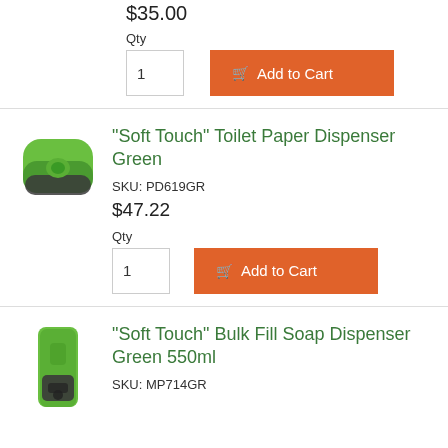$35.00
Qty
1
Add to Cart
"Soft Touch" Toilet Paper Dispenser Green
SKU: PD619GR
$47.22
Qty
1
Add to Cart
[Figure (photo): Green Soft Touch Toilet Paper Dispenser]
"Soft Touch" Bulk Fill Soap Dispenser Green 550ml
SKU: MP714GR
[Figure (photo): Green Soft Touch Bulk Fill Soap Dispenser 550ml]